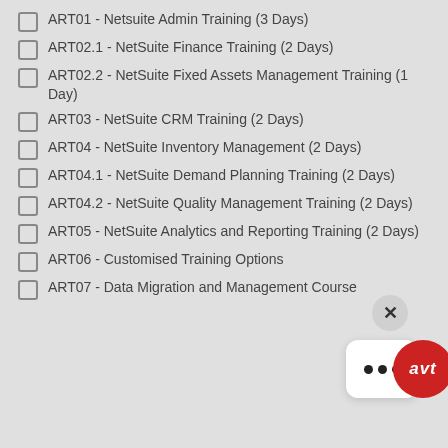ART01 - Netsuite Admin Training (3 Days)
ART02.1 - NetSuite Finance Training (2 Days)
ART02.2 - NetSuite Fixed Assets Management Training (1 Day)
ART03 - NetSuite CRM Training (2 Days)
ART04 - NetSuite Inventory Management (2 Days)
ART04.1 - NetSuite Demand Planning Training (2 Days)
ART04.2 - NetSuite Quality Management Training (2 Days)
ART05 - NetSuite Analytics and Reporting Training (2 Days)
ART06 - Customised Training Options
ART07 - Data Migration and Management Course